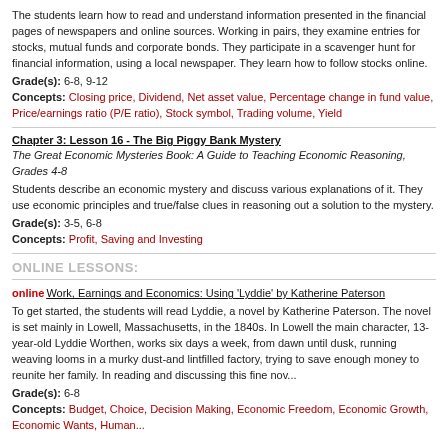The students learn how to read and understand information presented in the financial pages of newspapers and online sources. Working in pairs, they examine entries for stocks, mutual funds and corporate bonds. They participate in a scavenger hunt for financial information, using a local newspaper. They learn how to follow stocks online.
Grade(s): 6-8, 9-12
Concepts: Closing price, Dividend, Net asset value, Percentage change in fund value, Price/earnings ratio (P/E ratio), Stock symbol, Trading volume, Yield
Chapter 3: Lesson 16 - The Big Piggy Bank Mystery
The Great Economic Mysteries Book: A Guide to Teaching Economic Reasoning, Grades 4-8
Students describe an economic mystery and discuss various explanations of it. They use economic principles and true/false clues in reasoning out a solution to the mystery.
Grade(s): 3-5, 6-8
Concepts: Profit, Saving and Investing
ONLINE LESSONS:
online Work, Earnings and Economics: Using 'Lyddie' by Katherine Paterson
To get started, the students will read Lyddie, a novel by Katherine Paterson. The novel is set mainly in Lowell, Massachusetts, in the 1840s. In Lowell the main character, 13-year-old Lyddie Worthen, works six days a week, from dawn until dusk, running weaving looms in a murky dust-and lintfilled factory, trying to save enough money to reunite her family. In reading and discussing this fine nov...
Grade(s): 6-8
Concepts: Budget, Choice, Decision Making, Economic Freedom, Economic Growth, Economic Wants, Human...